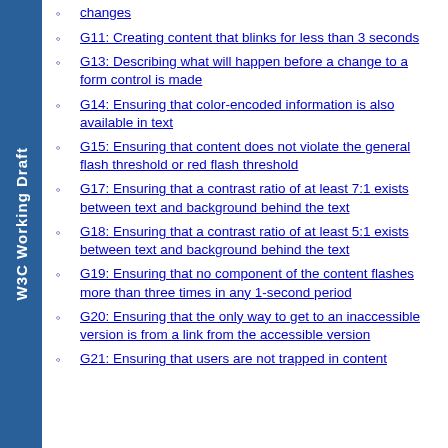W3C Working Draft
changes
G11: Creating content that blinks for less than 3 seconds
G13: Describing what will happen before a change to a form control is made
G14: Ensuring that color-encoded information is also available in text
G15: Ensuring that content does not violate the general flash threshold or red flash threshold
G17: Ensuring that a contrast ratio of at least 7:1 exists between text and background behind the text
G18: Ensuring that a contrast ratio of at least 5:1 exists between text and background behind the text
G19: Ensuring that no component of the content flashes more than three times in any 1-second period
G20: Ensuring that the only way to get to an inaccessible version is from a link from the accessible version
G21: Ensuring that users are not trapped in content